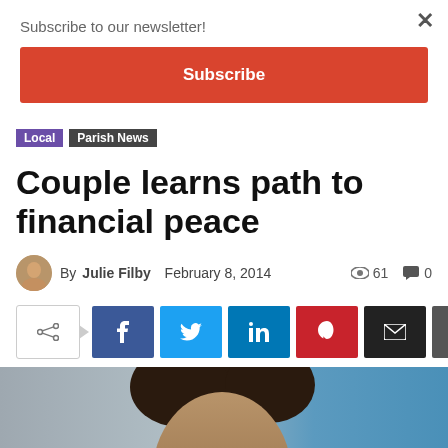Subscribe to our newsletter!
Subscribe
Local  Parish News
Couple learns path to financial peace
By Julie Filby  February 8, 2014  61  0
[Figure (screenshot): Social share buttons: share toggle, Facebook, Twitter, LinkedIn, Pinterest, Email, Print]
[Figure (photo): Portrait photo of a man with dark curly hair, partial face visible against blue/grey background]